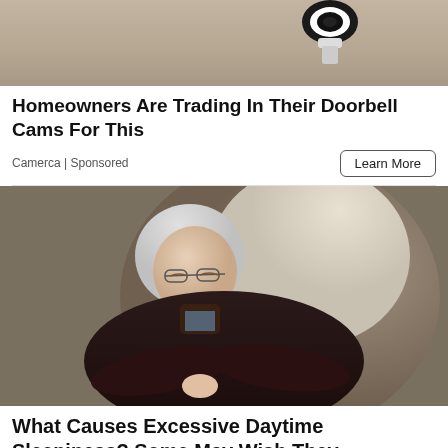[Figure (photo): Top portion of a home security camera against a stone/concrete wall background]
Homeowners Are Trading In Their Doorbell Cams For This
Camerca | Sponsored
[Figure (photo): Elderly man sleeping in an armchair, wearing a dark sweater, glasses, arms crossed, head bowed]
What Causes Excessive Daytime Sleepiness? Some May Wish They Realized...